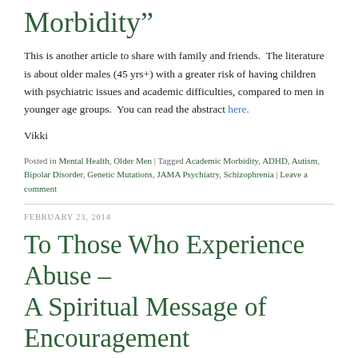Morbidity”
This is another article to share with family and friends.  The literature is about older males (45 yrs+) with a greater risk of having children with psychiatric issues and academic difficulties, compared to men in younger age groups.  You can read the abstract here.
Vikki
Posted in Mental Health, Older Men | Tagged Academic Morbidity, ADHD, Autism, Bipolar Disorder, Genetic Mutations, JAMA Psychiatry, Schizophrenia | Leave a comment
FEBRUARY 23, 2014
To Those Who Experience Abuse – A Spiritual Message of Encouragement